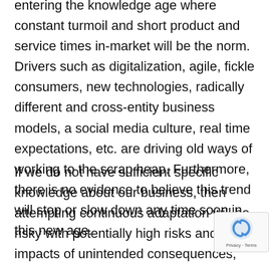entering the knowledge age where constant turmoil and short product and service times in-market will be the norm. Drivers such as digitalization, agile, fickle consumers, new technologies, radically different and cross-entity business models, a social media culture, real time expectations, etc. are driving old ways of working to the scrap heap. Furthermore, there is no evidence to believe this trend will stop or slow down any time soon in this new age.
If we do not have sufficient specific knowledge about our business, then attempting continuous adaptation will be risky with potentially high risks and large impacts of unintended consequences, making the expression 'the main cause of problems is solutions